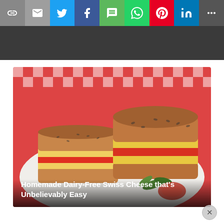[Figure (screenshot): Social sharing button bar with icons: link/copy, email, Twitter, Facebook, SMS, WhatsApp, Pinterest, LinkedIn, and More options. Each button has a distinct background color.]
[Figure (photo): Food photo showing a cheese and tomato sandwich on seeded bread, cut in half and displayed on a white plate with a red gingham tablecloth background. Arugula and tomato garnish visible. Overlay text reads 'Homemade Dairy-Free Swiss Cheese that's Unbelievably Easy'.]
Homemade Dairy-Free Swiss Cheese that's Unbelievably Easy